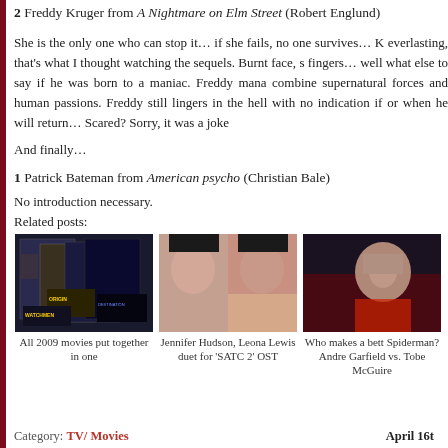2 Freddy Kruger from A Nightmare on Elm Street (Robert Englund)
She is the only one who can stop it… if she fails, no one survives… K everlasting, that's what I thought watching the sequels. Burnt face, s fingers… well what else to say if he was born to a maniac. Freddy mana combine supernatural forces and human passions. Freddy still lingers in the hell with no indication if or when he will return… Scared? Sorry, it was a joke
And finally…
1 Patrick Bateman from American psycho (Christian Bale)
No introduction necessary.
Related posts:
[Figure (photo): Movie posters collage including Watchmen and Inception for 2009 movies]
All 2009 movies put together in one
[Figure (photo): Jennifer Hudson and Leona Lewis side by side portrait photos]
Jennifer Hudson, Leona Lewis duet for 'SATC 2' OST
[Figure (photo): Spiderman actor in costume, Andrew Garfield vs Tobey McGuire comparison]
Who makes a bett Spiderman? Andre Garfield vs. Tobe McGuire
Category: TV/ Movies   April 16t